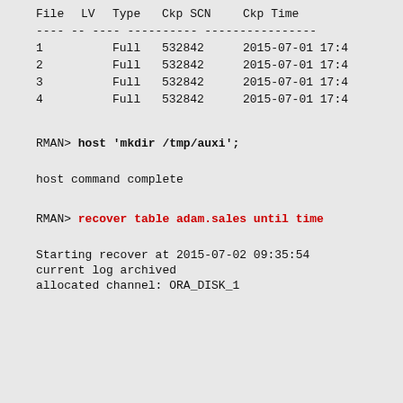| File | LV | Type | Ckp SCN | Ckp Time |
| --- | --- | --- | --- | --- |
| 1 |  | Full | 532842 | 2015-07-01 17:4 |
| 2 |  | Full | 532842 | 2015-07-01 17:4 |
| 3 |  | Full | 532842 | 2015-07-01 17:4 |
| 4 |  | Full | 532842 | 2015-07-01 17:4 |
RMAN> host 'mkdir /tmp/auxi';
host command complete
RMAN> recover table adam.sales until time
Starting recover at 2015-07-02 09:35:54
current log archived
allocated channel: ORA_DISK_1